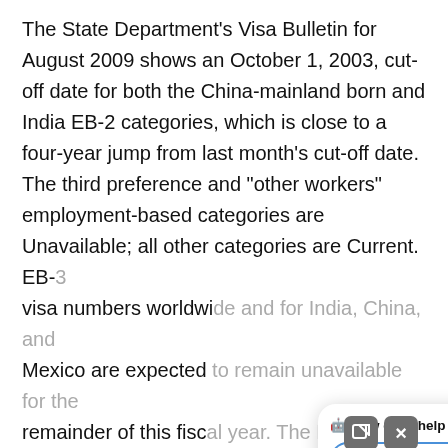The State Department's Visa Bulletin for August 2009 shows an October 1, 2003, cut-off date for both the China-mainland born and India EB-2 categories, which is close to a four-year jump from last month's cut-off date. The third preference and "other workers" employment-based categories are Unavailable; all other categories are Current. EB-3 visa numbers worldwide and for India, China, and Mexico are expected to remain unavailable for the remainder of this fiscal year. The EB-3 category for India could remain unavailable indefinitely.
This follows on the heels of a bulletin last month that the India and China EB-3 visa numbers would become unavailable in August 2009 and remain unavailable indefinitely. The Department had...
[Figure (screenshot): Chat widget overlay showing a 'How can I help you?' popup with options: Immigrant Employment, Family, Visas, Immigration issues, and a Scroll button]